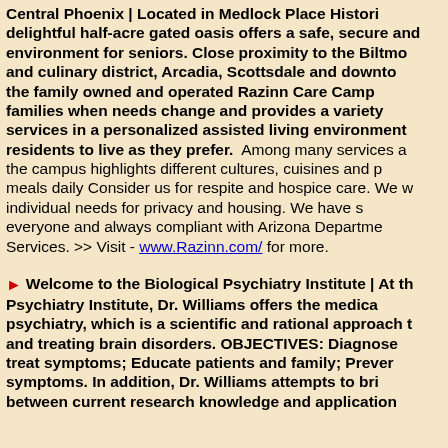Central Phoenix | Located in Medlock Place Historic delightful half-acre gated oasis offers a safe, secure and environment for seniors. Close proximity to the Biltmo and culinary district, Arcadia, Scottsdale and downto the family owned and operated Razinn Care Camp families when needs change and provides a variety services in a personalized assisted living environment residents to live as they prefer. Among many services a the campus highlights different cultures, cuisines and p meals daily Consider us for respite and hospice care. We w individual needs for privacy and housing. We have s everyone and always compliant with Arizona Departme Services. >> Visit - www.Razinn.com/ for more.
Welcome to the Biological Psychiatry Institute | At th Psychiatry Institute, Dr. Williams offers the medica psychiatry, which is a scientific and rational approach t and treating brain disorders. OBJECTIVES: Diagnose treat symptoms; Educate patients and family; Prever symptoms. In addition, Dr. Williams attempts to bri between current research knowledge and application